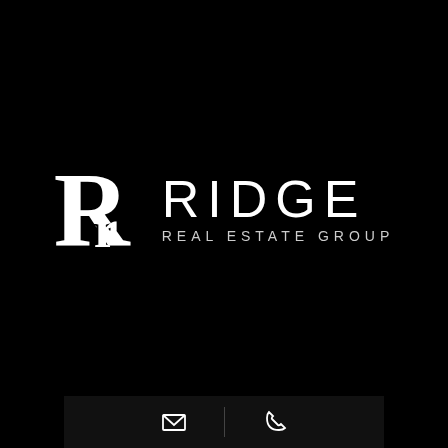[Figure (logo): Ridge Real Estate Group logo — stylized double-R monogram in white serif on black background, with 'RIDGE' in large light sans-serif uppercase and 'REAL ESTATE GROUP' in spaced uppercase below]